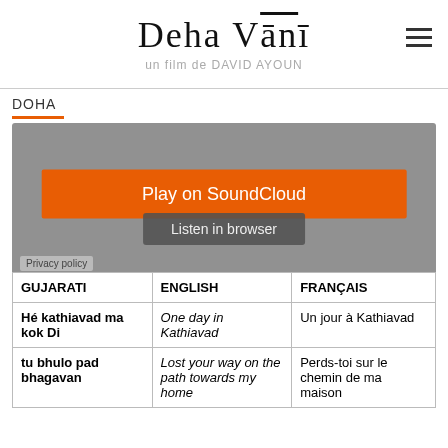Deha Vani — un film de DAVID AYOUN
DOHA
[Figure (screenshot): SoundCloud embedded audio player widget with orange 'Play on SoundCloud' button, 'Listen in browser' button, and 'Privacy policy' label on a grey background.]
| GUJARATI | ENGLISH | FRANÇAIS |
| --- | --- | --- |
| Hé kathiavad ma kok Di | One day in Kathiavad | Un jour à Kathiavad |
| tu bhulo pad bhagavan | Lost your way on the path towards my home | Perds-toi sur le chemin de ma maison |